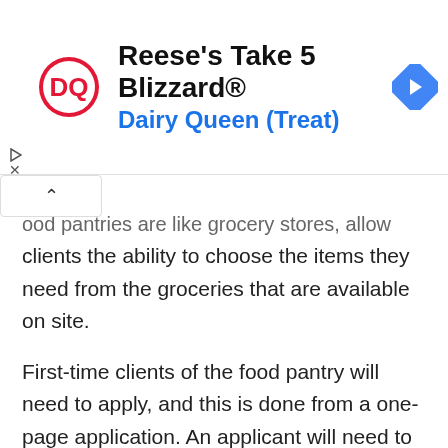[Figure (screenshot): Dairy Queen advertisement banner showing DQ logo, text 'Reese's Take 5 Blizzard® Dairy Queen (Treat)', and a blue navigation arrow icon on the right. Small play and close icons on the left side.]
ood pantries are like grocery stores, allow clients the ability to choose the items they need from the groceries that are available on site.
First-time clients of the food pantry will need to apply, and this is done from a one-page application. An applicant will need to provide basic household member as well as demographic information.
This Catholic Charity program is in high